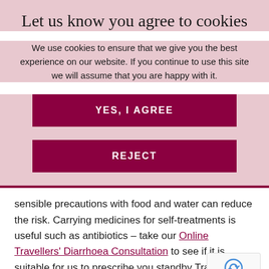Let us know you agree to cookies
We use cookies to ensure that we give you the best experience on our website. If you continue to use this site we will assume that you are happy with it.
YES, I AGREE
REJECT
sensible precautions with food and water can reduce the risk. Carrying medicines for self-treatments is useful such as antibiotics – take our Online Travellers' Diarrhoea Consultation to see if it is suitable for us to prescribe you standby Travellers' Diarrhoea treatment.